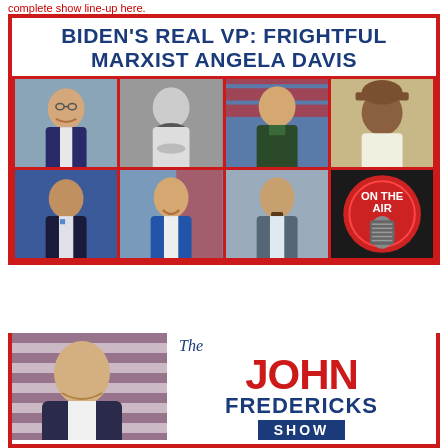complete show line-up here.
BIDEN'S REAL VP: FRIGHTFUL MARXIST ANGELA DAVIS
[Figure (photo): Grid of 8 guest photos arranged in 2 rows of 4, plus a radio microphone 'On The Air' image in bottom-right of grid]
[Figure (logo): The John Fredericks Show logo with host photo, American flag background, show name in red white and blue]
The JOHN FREDERICKS SHOW